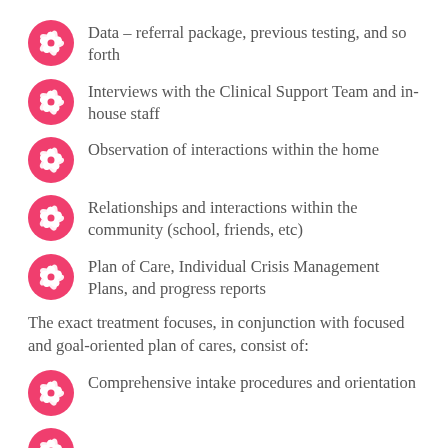Data – referral package, previous testing, and so forth
Interviews with the Clinical Support Team and in-house staff
Observation of interactions within the home
Relationships and interactions within the community (school, friends, etc)
Plan of Care, Individual Crisis Management Plans, and progress reports
The exact treatment focuses, in conjunction with focused and goal-oriented plan of cares, consist of:
Comprehensive intake procedures and orientation
...